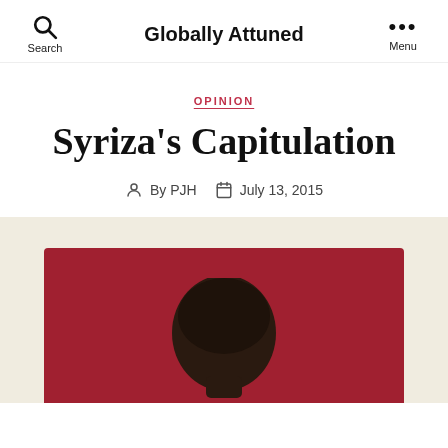Globally Attuned
OPINION
Syriza’s Capitulation
By PJH   July 13, 2015
[Figure (photo): Photo of a person (seen from the back of the head) against a dark red/crimson background, displayed on a cream/beige background section]